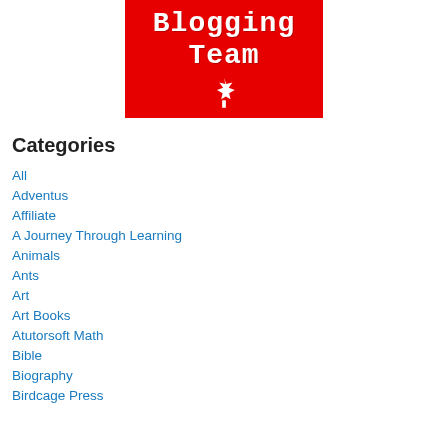[Figure (logo): Red background logo with white text 'Blogging Team' in monospace font and a white maple leaf icon below]
Categories
All
Adventus
Affiliate
A Journey Through Learning
Animals
Ants
Art
Art Books
Atutorsoft Math
Bible
Biography
Birdcage Press